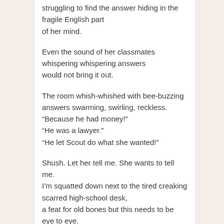struggling to find the answer hiding in the fragile English part
of her mind.
Even the sound of her classmates whispering whispering answers would not bring it out.
The room whish-whished with bee-buzzing answers swarming, swirling, reckless.
“Because he had money!”
“He was a lawyer.”
“He let Scout do what she wanted!”
Shush. Let her tell me. She wants to tell me. I’m squatted down next to the tired creaking scarred high-school desk,
a feat for old bones but this needs to be eye to eye.